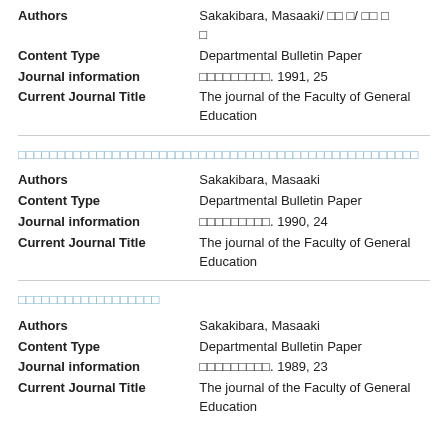| Field | Value |
| --- | --- |
| Authors | Sakakibara, Masaaki/ □□ □/ □□ □□ |
| Content Type | Departmental Bulletin Paper |
| Journal information | □□□□□□□□□. 1991, 25 |
| Current Journal Title | The journal of the Faculty of General Education |
□□□□□□□□□□□□□□□□□□□□□□□□□□□□□□□□□□□□□□□□□□□□□□□□□
| Field | Value |
| --- | --- |
| Authors | Sakakibara, Masaaki |
| Content Type | Departmental Bulletin Paper |
| Journal information | □□□□□□□□□. 1990, 24 |
| Current Journal Title | The journal of the Faculty of General Education |
□□□□□□□□□□□□□□□□□□
| Field | Value |
| --- | --- |
| Authors | Sakakibara, Masaaki |
| Content Type | Departmental Bulletin Paper |
| Journal information | □□□□□□□□□. 1989, 23 |
| Current Journal Title | The journal of the Faculty of General Education |